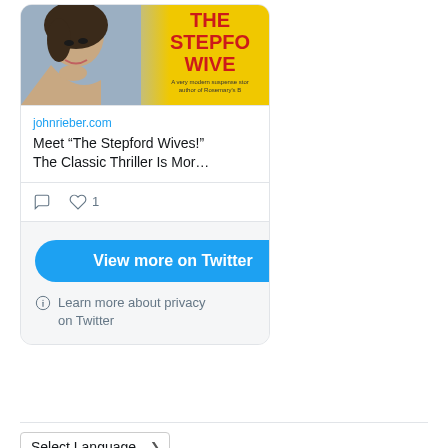[Figure (screenshot): Book cover of The Stepford Wives with a woman's face on the left and yellow background on the right with red title text]
johnrieber.com
Meet “The Stepford Wives!” The Classic Thriller Is Mor…
[Figure (other): Comment icon and heart icon with count 1]
View more on Twitter
Learn more about privacy on Twitter
Select Language